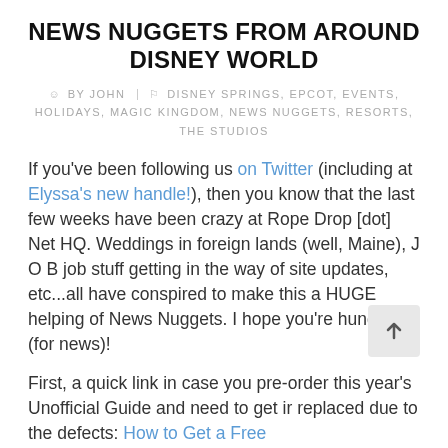NEWS NUGGETS FROM AROUND DISNEY WORLD
BY JOHN | DISNEY SPRINGS, EPCOT, EVENTS, HOLIDAYS, MAGIC KINGDOM, NEWS NUGGETS, RESORTS, THE STUDIOS
If you've been following us on Twitter (including at Elyssa's new handle!), then you know that the last few weeks have been crazy at Rope Drop [dot] Net HQ. Weddings in foreign lands (well, Maine), J O B job stuff getting in the way of site updates, etc...all have conspired to make this a HUGE helping of News Nuggets. I hope you're hungry (for news)!
First, a quick link in case you pre-order this year's Unofficial Guide and need to get ir replaced due to the defects: How to Get a Free